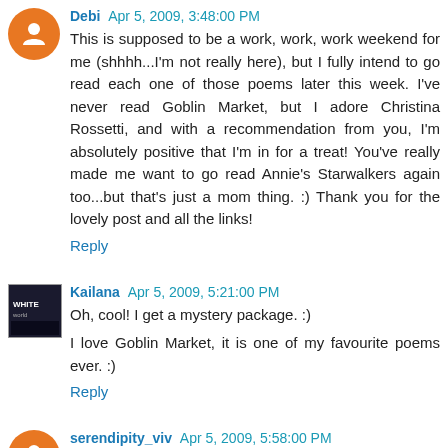Debi Apr 5, 2009, 3:48:00 PM
This is supposed to be a work, work, work weekend for me (shhhh...I'm not really here), but I fully intend to go read each one of those poems later this week. I've never read Goblin Market, but I adore Christina Rossetti, and with a recommendation from you, I'm absolutely positive that I'm in for a treat! You've really made me want to go read Annie's Starwalkers again too...but that's just a mom thing. :) Thank you for the lovely post and all the links!
Reply
Kailana Apr 5, 2009, 5:21:00 PM
Oh, cool! I get a mystery package. :)
I love Goblin Market, it is one of my favourite poems ever. :)
Reply
serendipity_viv Apr 5, 2009, 5:58:00 PM
I really struggle with poetry - I don't know why, I just can't